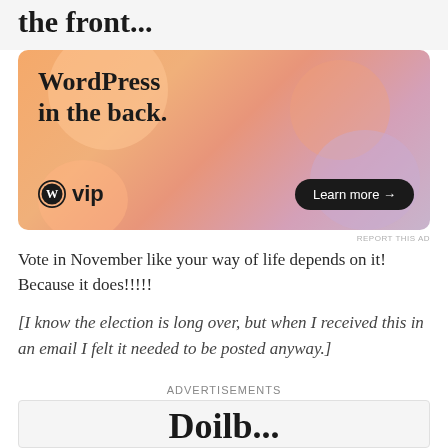the front...
[Figure (illustration): WordPress VIP advertisement banner with colorful gradient background in orange, peach, and purple tones. Shows 'WordPress in the back.' text, WordPress VIP logo, and a 'Learn more →' button.]
REPORT THIS AD
Vote in November like your way of life depends on it! Because it does!!!!!
[I know the election is long over, but when I received this in an email I felt it needed to be posted anyway.]
Advertisements
[Figure (other): Bottom advertisement box, partially visible, showing the beginning of text 'Doilb...' in large serif font]